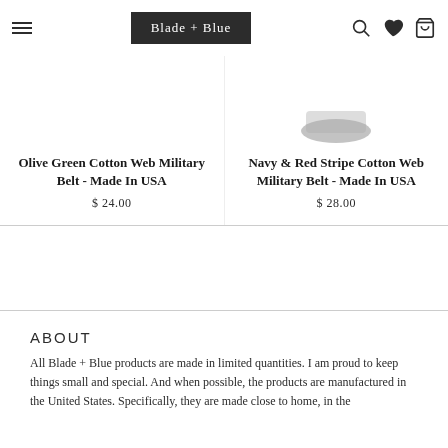Blade + Blue
Olive Green Cotton Web Military Belt - Made In USA
$ 24.00
Navy & Red Stripe Cotton Web Military Belt - Made In USA
$ 28.00
ABOUT
All Blade + Blue products are made in limited quantities. I am proud to keep things small and special. And when possible, the products are manufactured in the United States. Specifically, they are made close to home, in the